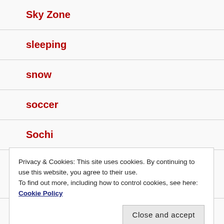Sky Zone
sleeping
snow
soccer
Sochi
solar
Privacy & Cookies: This site uses cookies. By continuing to use this website, you agree to their use.
To find out more, including how to control cookies, see here: Cookie Policy
spelling